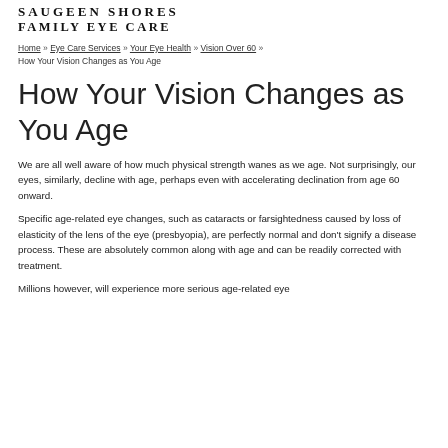SAUGEEN SHORES
FAMILY EYE CARE
Home » Eye Care Services » Your Eye Health » Vision Over 60 » How Your Vision Changes as You Age
How Your Vision Changes as You Age
We are all well aware of how much physical strength wanes as we age. Not surprisingly, our eyes, similarly, decline with age, perhaps even with accelerating declination from age 60 onward.
Specific age-related eye changes, such as cataracts or farsightedness caused by loss of elasticity of the lens of the eye (presbyopia), are perfectly normal and don't signify a disease process. These are absolutely common along with age and can be readily corrected with treatment.
Millions however, will experience more serious age-related eye